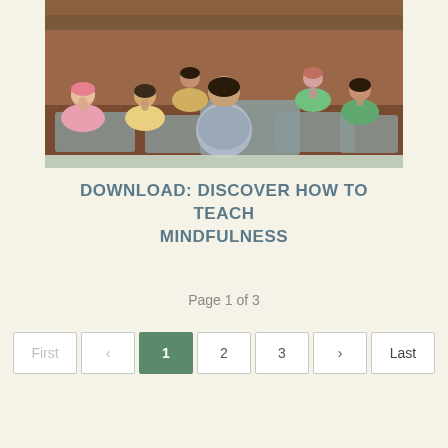[Figure (photo): A yoga/mindfulness class scene viewed from behind the instructor. Several students sit cross-legged on yoga mats in a room with warm brown tones. The instructor faces the group of students who are in meditation poses.]
DOWNLOAD: DISCOVER HOW TO TEACH MINDFULNESS
Page 1 of 3
First < 1 2 3 > Last